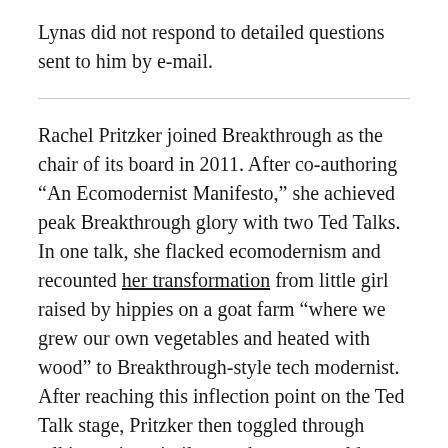Lynas did not respond to detailed questions sent to him by e-mail.
Rachel Pritzker joined Breakthrough as the chair of its board in 2011. After co-authoring “An Ecomodernist Manifesto,” she achieved peak Breakthrough glory with two Ted Talks. In one talk, she flacked ecomodernism and recounted her transformation from little girl raised by hippies on a goat farm “where we grew our own vegetables and heated with wood” to Breakthrough-style tech modernist. After reaching this inflection point on the Ted Talk stage, Pritzker then toggled through talking points similar to what one would expect from a nuclear energy lobbyist, while also